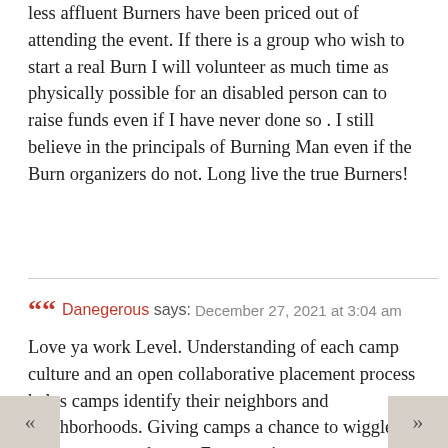less affluent Burners have been priced out of attending the event. If there is a group who wish to start a real Burn I will volunteer as much time as physically possible for an disabled person can to raise funds even if I have never done so . I still believe in the principals of Burning Man even if the Burn organizers do not. Long live the true Burners!
Report comment
Danegerous says: December 27, 2021 at 3:04 am
Love ya work Level. Understanding of each camp culture and an open collaborative placement process helps camps identify their neighbors and neighborhoods. Giving camps a chance to wiggle keeps everyone happy. Encouraging resource and schedule sharing amongst neighbors, new and old, builds cross-cultural bonds.